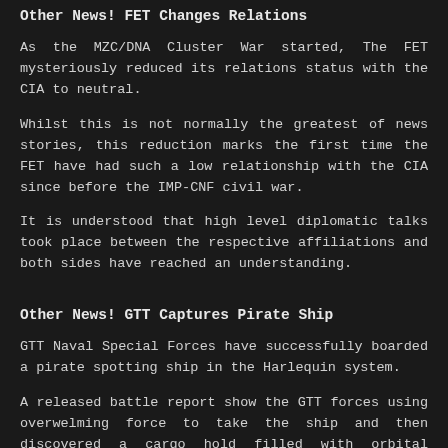Other News! FET Changes Relations
As the MZC/DNA Cluster War started, The FET mysteriously reduced its relations status with the CIA to neutral.
Whilst this is not normally the greatest of news stories, this reduction marks the first time the FET have had such a low relationship with the CIA since before the IMP-CNF civil war.
It is understood that high level diplomatic talks took place between the respective affiliations and both sides have reached an understanding.
Other News! GTT Captures Pirate Ship
GTT Naval Special Forces have successfully boarded a pirate spotting ship in the Harlequin system.
A released battle report show the GTT forces using overwelming force to take the ship and then discovered a cargo hold filled with orbital probes.
The GTT have stated they are ready to defend the Empire from